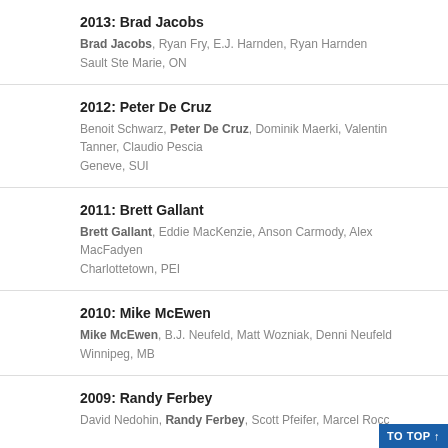2013: Brad Jacobs
Brad Jacobs, Ryan Fry, E.J. Harnden, Ryan Harnden
Sault Ste Marie, ON
2012: Peter De Cruz
Benoit Schwarz, Peter De Cruz, Dominik Maerki, Valentin Tanner, Claudio Pescia
Geneve, SUI
2011: Brett Gallant
Brett Gallant, Eddie MacKenzie, Anson Carmody, Alex MacFadyen
Charlottetown, PEI
2010: Mike McEwen
Mike McEwen, B.J. Neufeld, Matt Wozniak, Denni Neufeld
Winnipeg, MB
2009: Randy Ferbey
David Nedohin, Randy Ferbey, Scott Pfeifer, Marcel Rocc…